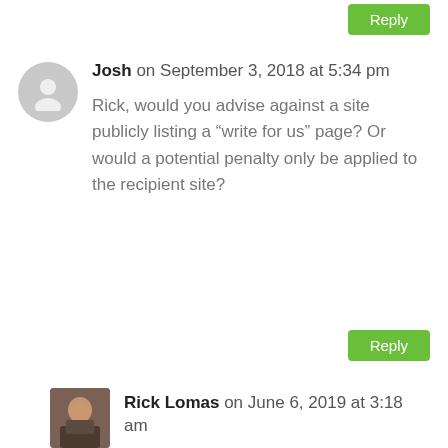Reply
Josh on September 3, 2018 at 5:34 pm
Rick, would you advise against a site publicly listing a “write for us” page? Or would a potential penalty only be applied to the recipient site?
Reply
Rick Lomas on June 6, 2019 at 3:18 am